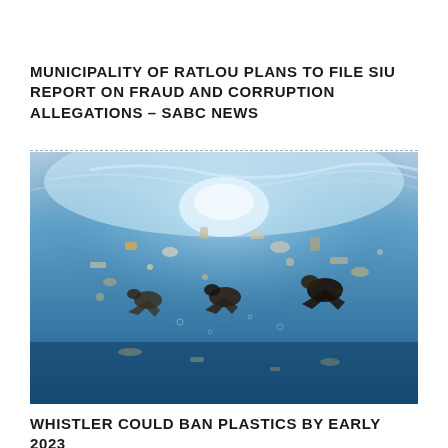MUNICIPALITY OF RATLOU PLANS TO FILE SIU REPORT ON FRAUD AND CORRUPTION ALLEGATIONS – SABC NEWS
[Figure (photo): Underwater photograph showing divers or people swimming surrounded by floating plastic waste and debris in blue ocean water, illustrating ocean plastic pollution.]
WHISTLER COULD BAN PLASTICS BY EARLY 2023